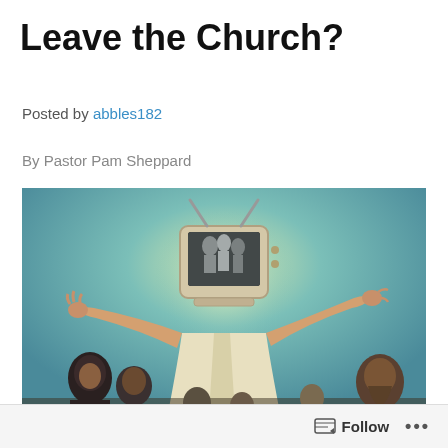Leave the Church?
Posted by abbles182
By Pastor Pam Sheppard
[Figure (illustration): A surreal illustration depicting a robed figure (Jesus-like) with a vintage television set for a head showing a black-and-white image. The figure stands with arms outstretched, surrounded by several people in biblical-era clothing looking up at the figure. The background has a glowing teal/green sky.]
Follow ...